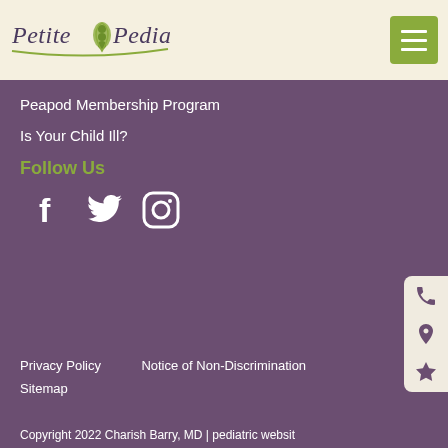[Figure (logo): Petite Pediatrics logo with stylized text and pea pod icon, olive green hamburger menu button on right]
Peapod Membership Program
Is Your Child Ill?
Follow Us
[Figure (infographic): Social media icons: Facebook, Twitter, Instagram in white on purple background]
Privacy Policy   Notice of Non-Discrimination
Sitemap
Copyright 2022 Charish Barry, MD | pediatric websit
[Figure (infographic): Side action buttons: phone, location pin, star icons on cream background]